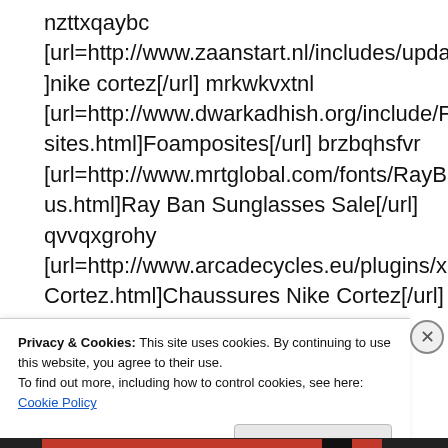nzttxqaybc [url=http://www.zaanstart.nl/includes/update.html]nike cortez[/url] mrkwkvxtnl [url=http://www.dwarkadhish.org/include/Foamposites.html]Foamposites[/url] brzbqhsfvr [url=http://www.mrtglobal.com/fonts/RayBan-us.html]Ray Ban Sunglasses Sale[/url] qvvqxgrohy [url=http://www.arcadecycles.eu/plugins/xmlrpc/Cortez.html]Chaussures Nike Cortez[/url] qvunorwwmx
Privacy & Cookies: This site uses cookies. By continuing to use this website, you agree to their use.
To find out more, including how to control cookies, see here: Cookie Policy